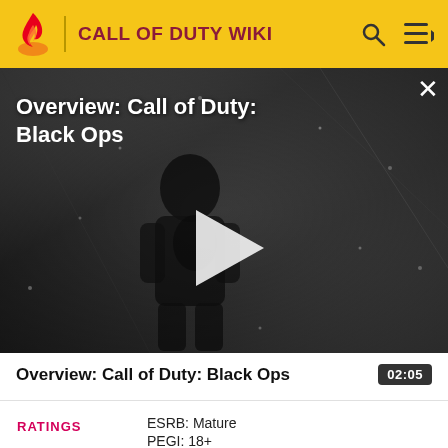CALL OF DUTY WIKI
[Figure (screenshot): Video thumbnail showing a soldier in black tactical gear in a grey/dark environment. Title overlay reads 'Overview: Call of Duty: Black Ops' with a play button in the center and a close (X) button in the top right.]
Overview: Call of Duty: Black Ops
02:05
| RATINGS |  |
| --- | --- |
|  | ESRB: Mature |
|  | PEGI: 18+ |
|  | USK: 18 |